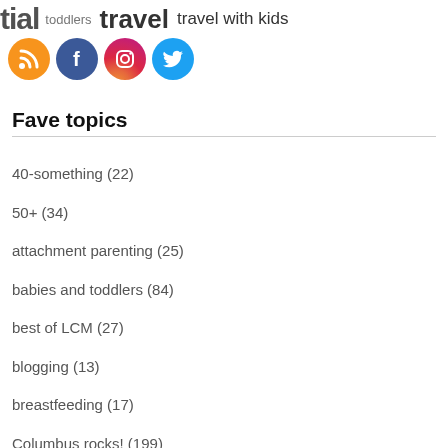[Figure (illustration): Partial tag cloud at top with text including 'toddlers', 'travel', 'travel with kids' and four social media icons: RSS (orange), Facebook (blue), Instagram (gradient), Twitter (blue)]
Fave topics
40-something (22)
50+ (34)
attachment parenting (25)
babies and toddlers (84)
best of LCM (27)
blogging (13)
breastfeeding (17)
Columbus rocks! (199)
communications (16)
cosleeping (13)
family fun (267)